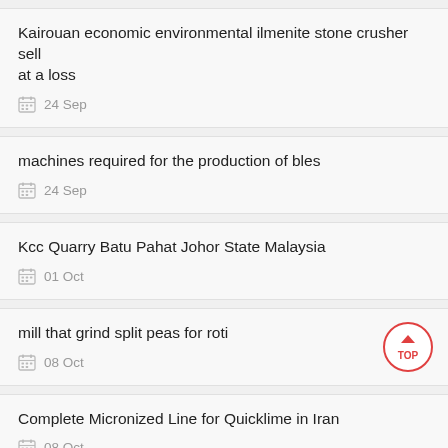Kairouan economic environmental ilmenite stone crusher sell at a loss
24 Sep
machines required for the production of bles
24 Sep
Kcc Quarry Batu Pahat Johor State Malaysia
01 Oct
mill that grind split peas for roti
08 Oct
Complete Micronized Line for Quicklime in Iran
08 Oct